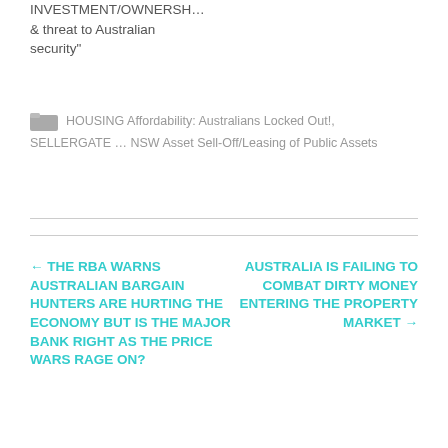INVESTMENT/OWNERSH... & threat to Australian security"
HOUSING Affordability: Australians Locked Out!, SELLERGATE … NSW Asset Sell-Off/Leasing of Public Assets
← THE RBA WARNS AUSTRALIAN BARGAIN HUNTERS ARE HURTING THE ECONOMY BUT IS THE MAJOR BANK RIGHT AS THE PRICE WARS RAGE ON?
AUSTRALIA IS FAILING TO COMBAT DIRTY MONEY ENTERING THE PROPERTY MARKET →